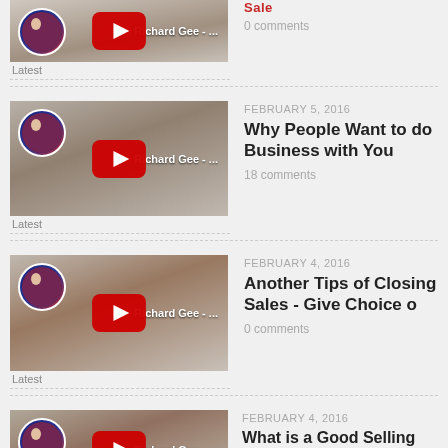[Figure (screenshot): Partial video thumbnail showing a man, Richard Gee, with a YouTube play button overlay and circle avatar]
Latest
[Figure (screenshot): Video thumbnail: Richard Gee - ... with YouTube play button and circle avatar, dated February 5, 2016]
FEBRUARY 5, 2016
Why People Want to do Business with You
18 comments
Latest
[Figure (screenshot): Video thumbnail: Richard Gee - ... with YouTube play button and circle avatar, dated February 4, 2016]
FEBRUARY 4, 2016
Another Tips of Closing Sales - Give Choice o
0 comments
Latest
[Figure (screenshot): Partial video thumbnail: Richard Gee - ... with YouTube play button and circle avatar, dated February 4, 2016]
FEBRUARY 4, 2016
What is a Good Selling Definition